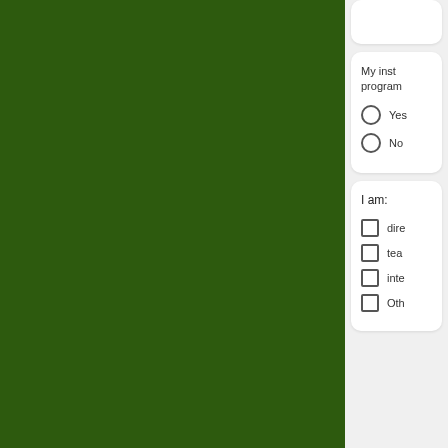[Figure (illustration): Dark green background panel on the left side of the page]
My inst program
Yes
No
I am:
dire
tea
inte
Oth